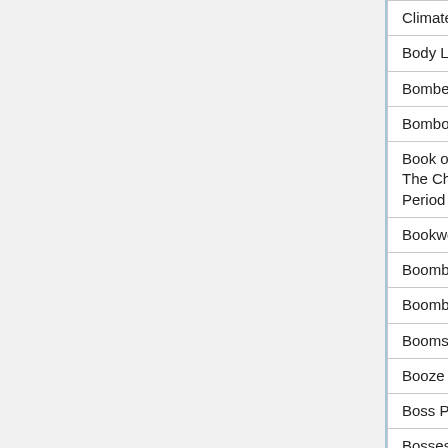| Climate Chaos |  |  |
| Body Ladder | N/A | N/A |
| Bomber Bob | N/A | N/A |
| Bomboozle | N/A | N/A |
| Book of Mages: The Chaotic Period | N/A | N/A |
| Bookworm | N/A | N/A |
| Boombot | N/A | N/A |
| Boombot 2 | N/A | N/A |
| Boomshine | N/A | N/A |
| Booze Up | N/A | N/A |
| Boss Preview | N/A | N/A |
| Bosses!!! | N/A | N/A |
| Bot Arena 3 | N/A | N/A |
| Boulder Basher | N/A | N/A |